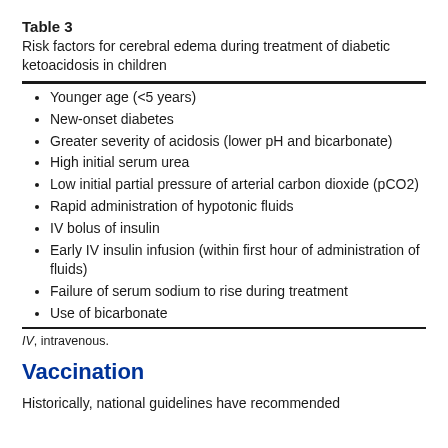Table 3
Risk factors for cerebral edema during treatment of diabetic ketoacidosis in children
Younger age (<5 years)
New-onset diabetes
Greater severity of acidosis (lower pH and bicarbonate)
High initial serum urea
Low initial partial pressure of arterial carbon dioxide (pCO2)
Rapid administration of hypotonic fluids
IV bolus of insulin
Early IV insulin infusion (within first hour of administration of fluids)
Failure of serum sodium to rise during treatment
Use of bicarbonate
IV, intravenous.
Vaccination
Historically, national guidelines have recommended